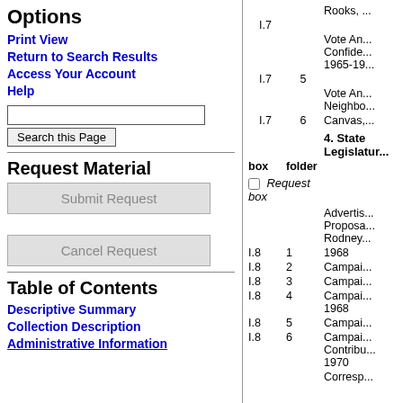Options
Print View
Return to Search Results
Access Your Account
Help
Request Material
Table of Contents
Descriptive Summary
Collection Description
Administrative Information
| box | folder | description |
| --- | --- | --- |
| I.7 | 4 | Rooks, ... |
| I.7 | 5 | Vote An... Confide... 1965-19... |
| I.7 | 6 | Vote An... Neighbo... Canvas,... |
|  |  | 4. State Legislature |
|  |  | Request box |
|  |  | Advertis... Proposa... Rodney... |
| I.8 | 1 | 1968 |
| I.8 | 2 | Campai... |
| I.8 | 3 | Campai... |
| I.8 | 4 | Campai... 1968 |
| I.8 | 5 | Campai... |
| I.8 | 6 | Campai... Contribu... 1970 |
|  |  | Corresp... |